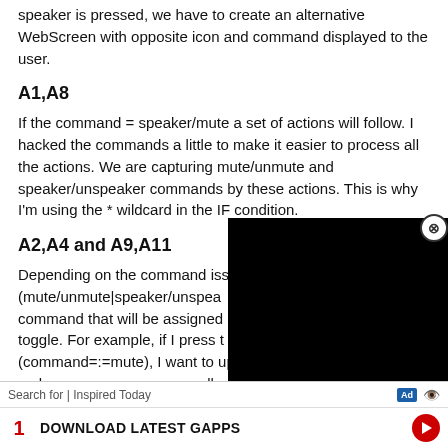speaker is pressed, we have to create an alternative WebScreen with opposite icon and command displayed to the user.
A1,A8
If the command = speaker/mute a set of actions will follow. I hacked the commands a little to make it easier to process all the actions. We are capturing mute/unmute and speaker/unspeaker commands by these actions. This is why I'm using the * wildcard in the IF condition.
A2,A4 and A9,A11
Depending on the command iss (mute/unmute|speaker/unspea command that will be assigned toggle. For example, if I press t (command=:=mute), I want to update the WebScreen and make s call will be es for the
[Figure (screenshot): Black video overlay rectangle covering lower right portion of the page]
[Figure (infographic): Ad banner at bottom: 'Search for | Inspired Today' with Ad badge and eye icon, then row with number '1', 'DOWNLOAD LATEST GAPPS' and red arrow button]